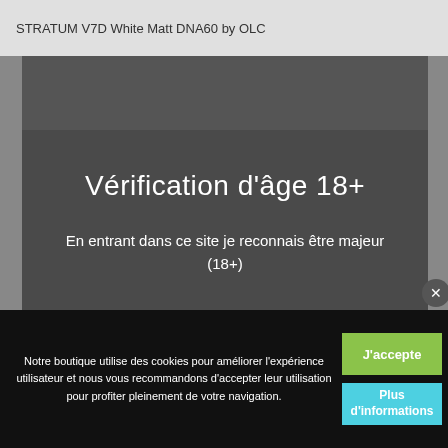STRATUM V7D White Matt DNA60 by OLC
[Figure (screenshot): Age verification modal dialog on a dark overlay background showing 'Vérification d'âge 18+' title, body text, and Non/Oui buttons]
Vérification d'âge 18+
En entrant dans ce site je reconnais être majeur (18+)
Cookie banner: Notre boutique utilise des cookies pour améliorer l'expérience utilisateur et nous vous recommandons d'accepter leur utilisation pour profiter pleinement de votre navigation.